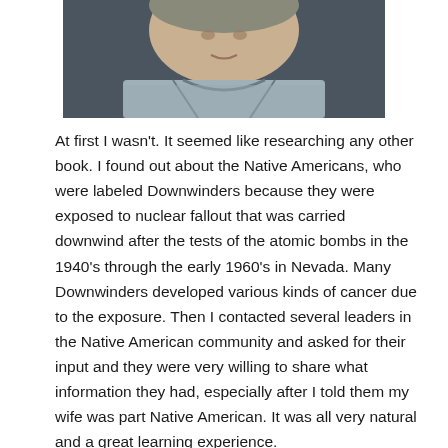[Figure (photo): Cropped photo of a person wearing a grey patterned collared shirt, visible from the collar/neck area up, against a dark background.]
At first I wasn't. It seemed like researching any other book. I found out about the Native Americans, who were labeled Downwinders because they were exposed to nuclear fallout that was carried downwind after the tests of the atomic bombs in the 1940's through the early 1960's in Nevada. Many Downwinders developed various kinds of cancer due to the exposure. Then I contacted several leaders in the Native American community and asked for their input and they were very willing to share what information they had, especially after I told them my wife was part Native American. It was all very natural and a great learning experience.